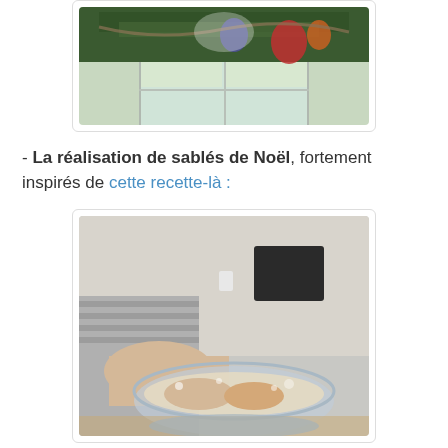[Figure (photo): Photo of a Christmas tree decoration viewed from below, with ornaments and garlands, near a window]
- La réalisation de sablés de Noël, fortement inspirés de cette recette-là :
[Figure (photo): Photo of a person mixing dough in a glass bowl, making Christmas shortbread cookies]